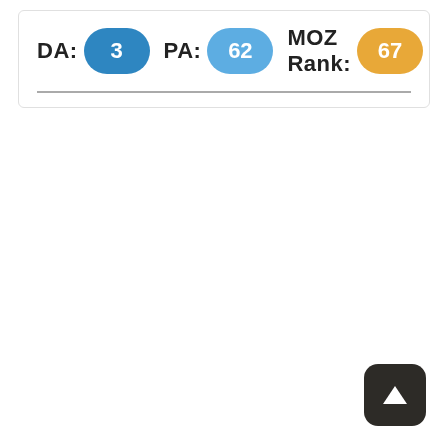DA: 3  PA: 62  MOZ Rank: 67
[Figure (other): Scroll-to-top button: dark rounded square with white upward arrow]